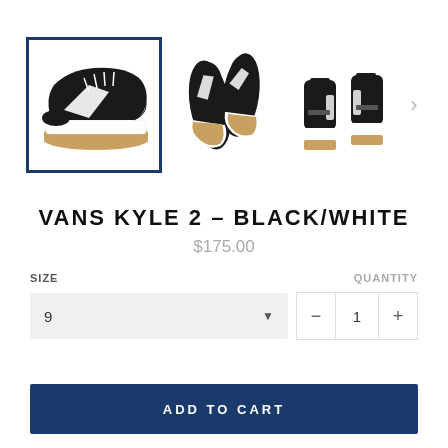[Figure (photo): Three views of Vans Kyle 2 sneaker in Black/White colorway: left side view (selected/highlighted with blue border), top-down view of pair, and rear view of pair. Navigation arrow on right.]
VANS KYLE 2 – BLACK/WHITE
$175.00
SIZE
QUANTITY
9 ▼
− 1 +
ADD TO CART